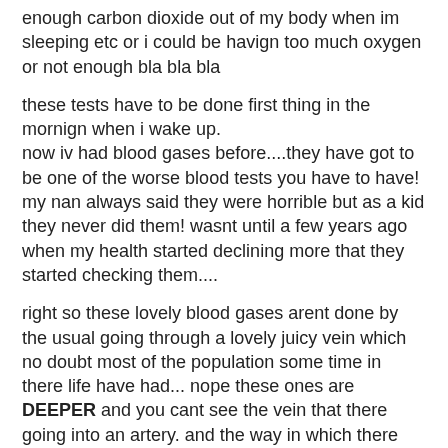enough carbon dioxide out of my body when im sleeping etc or i could be havign too much oxygen or not enough bla bla bla
these tests have to be done first thing in the mornign when i wake up.
now iv had blood gases before....they have got to be one of the worse blood tests you have to have!
my nan always said they were horrible but as a kid they never did them! wasnt until a few years ago when my health started declining more that they started checking them....
right so these lovely blood gases arent done by the usual going through a lovely juicy vein which no doubt most of the population some time in there life have had... nope these ones are DEEPER and you cant see the vein that there going into an artery. and the way in which there done is by feeling for a pulse on your wrist! so like you do if your feeling for your pulse you put two fingers on wrist and you can feel your heart beat....so they do that and then literally with a need as if there stabbing you they go straight down and dig around most of the time and once they think they have it they